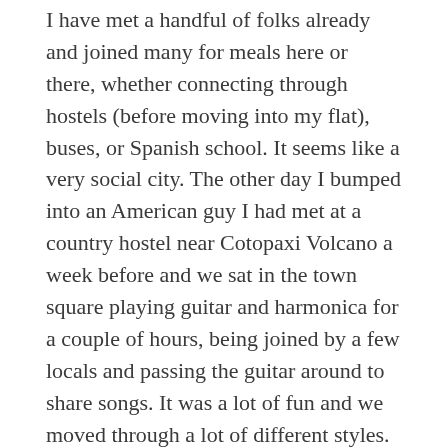I have met a handful of folks already and joined many for meals here or there, whether connecting through hostels (before moving into my flat), buses, or Spanish school. It seems like a very social city. The other day I bumped into an American guy I had met at a country hostel near Cotopaxi Volcano a week before and we sat in the town square playing guitar and harmonica for a couple of hours, being joined by a few locals and passing the guitar around to share songs. It was a lot of fun and we moved through a lot of different styles. Pedro, one of the locals, had a hankering for Cat Stevens and John Denver. We obliged him.
I have arranged to get my teeth cleaned next week and I am actually rather keen. It has probably been nearly ten years since my last proper cleaning, ever since my insurance knocked off after graduating. I heard from a